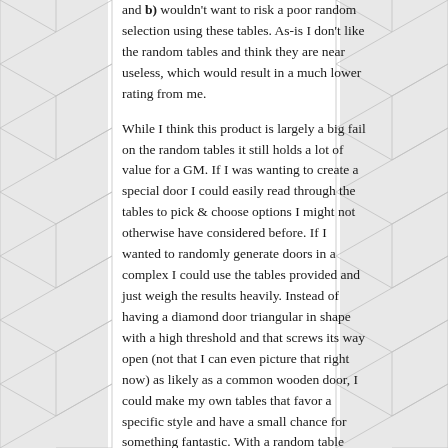and b) wouldn't want to risk a poor random selection using these tables. As-is I don't like the random tables and think they are near useless, which would result in a much lower rating from me.

While I think this product is largely a big fail on the random tables it still holds a lot of value for a GM. If I was wanting to create a special door I could easily read through the tables to pick & choose options I might not otherwise have considered before. If I wanted to randomly generate doors in a complex I could use the tables provided and just weigh the results heavily. Instead of having a diamond door triangular in shape with a high threshold and that screws its way open (not that I can even picture that right now) as likely as a common wooden door, I could make my own tables that favor a specific style and have a small chance for something fantastic. With a random table generator I could have specific attributes of the doors weigh-in on other attributes. The wooden doors would tend to be younger and simple while the more complex doors would be